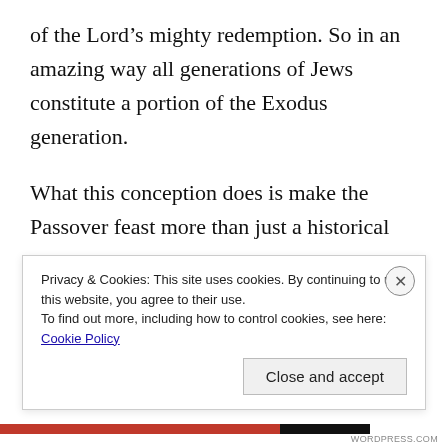of the Lord’s mighty redemption. So in an amazing way all generations of Jews constitute a portion of the Exodus generation.
What this conception does is make the Passover feast more than just a historical commemoration. It makes the annual celebration of Passover an experience in which each new generation of Jews participate in the Exodus. The Exodus continues as more than a repeated event. It becomes an ever-present experience for faithful Jews
Privacy & Cookies: This site uses cookies. By continuing to use this website, you agree to their use.
To find out more, including how to control cookies, see here: Cookie Policy
Close and accept